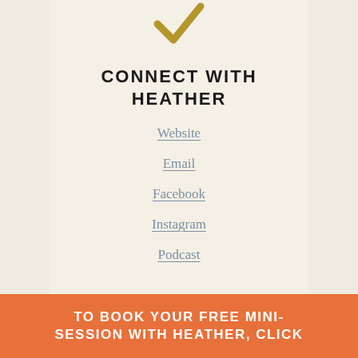[Figure (illustration): Gold/dark yellow checkmark icon at top center of cream panel]
CONNECT WITH HEATHER
Website
Email
Facebook
Instagram
Podcast
TO BOOK YOUR FREE MINI-SESSION WITH HEATHER, CLICK